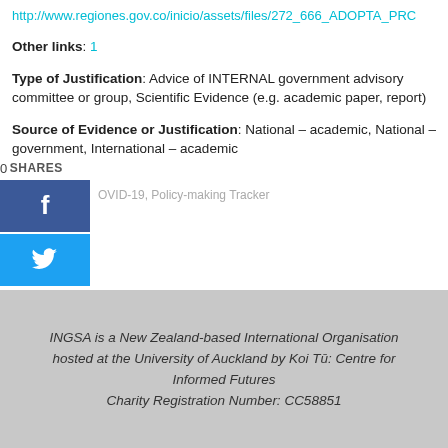http://www.regiones.gov.co/inicio/assets/files/272_666_ADOPTA_PR...
Other links: 1
Type of Justification: Advice of INTERNAL government advisory committee or group, Scientific Evidence (e.g. academic paper, report)
Source of Evidence or Justification: National – academic, National – government, International – academic
0 SHARES
COVID-19, Policy-making Tracker
INGSA is a New Zealand-based International Organisation hosted at the University of Auckland by Koi Tū: Centre for Informed Futures
Charity Registration Number: CC58851